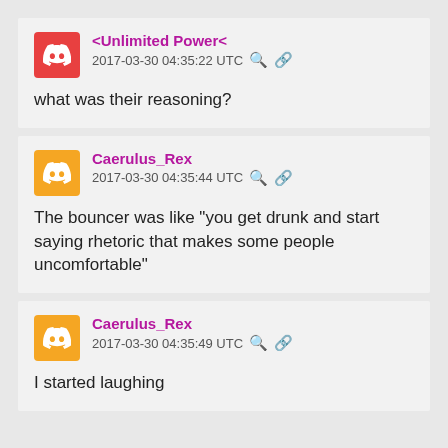<Unlimited Power<
2017-03-30 04:35:22 UTC
what was their reasoning?
Caerulus_Rex
2017-03-30 04:35:44 UTC
The bouncer was like "you get drunk and start saying rhetoric that makes some people uncomfortable"
Caerulus_Rex
2017-03-30 04:35:49 UTC
I started laughing